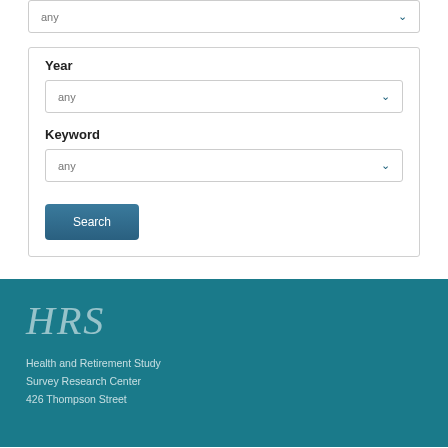[Figure (screenshot): Dropdown select box showing 'any' with chevron arrow, partially visible at top of page]
Year
[Figure (screenshot): Dropdown select box labeled Year showing 'any' with chevron arrow]
Keyword
[Figure (screenshot): Dropdown select box labeled Keyword showing 'any' with chevron arrow]
[Figure (screenshot): Search button with dark teal background]
[Figure (logo): HRS logo in large italic serif font on teal background]
Health and Retirement Study
Survey Research Center
426 Thompson Street